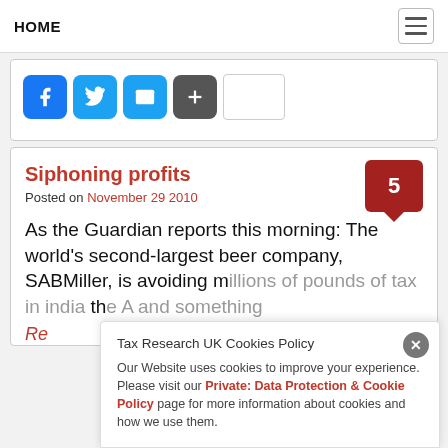HOME
[Figure (infographic): Social sharing icons: Facebook, Twitter, Email, Plus, and a share count box]
Siphoning profits
Posted on November 29 2010
As the Guardian reports this morning: The world’s second-largest beer company, SABMiller, is avoiding millions of pounds of tax in India th…
Re…
Tax Research UK Cookies Policy
Our Website uses cookies to improve your experience. Please visit our Private: Data Protection & Cookie Policy page for more information about cookies and how we use them.